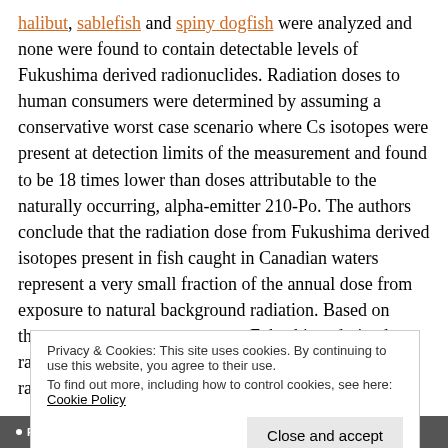halibut, sablefish and spiny dogfish were analyzed and none were found to contain detectable levels of Fukushima derived radionuclides. Radiation doses to human consumers were determined by assuming a conservative worst case scenario where Cs isotopes were present at detection limits of the measurement and found to be 18 times lower than doses attributable to the naturally occurring, alpha-emitter 210-Po. The authors conclude that the radiation dose from Fukushima derived isotopes present in fish caught in Canadian waters represent a very small fraction of the annual dose from exposure to natural background radiation. Based on these measurements, at present, Fukushima derived radionuclides in fish do not represent a significant radiological health risk to C...
Privacy & Cookies: This site uses cookies. By continuing to use this website, you agree to their use. To find out more, including how to control cookies, see here: Cookie Policy
• FISH • FISHER • FISHERIES AND OCEANS CANADA • HALIBUT